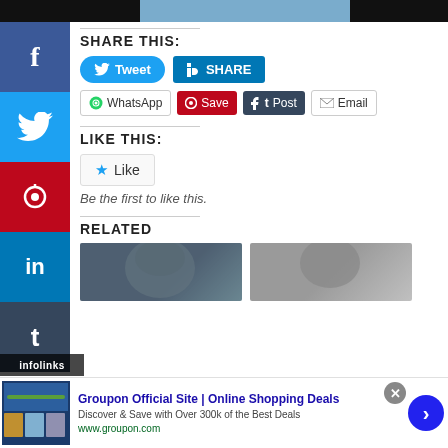[Figure (photo): Top banner image strip showing landscape/mountain scene with dark areas on left and right]
[Figure (infographic): Social media sidebar with Facebook (blue), Twitter (light blue), Pinterest (red), LinkedIn (blue), Tumblr (dark) icons]
SHARE THIS:
[Figure (infographic): Share buttons: Tweet (blue rounded), SHARE (LinkedIn teal), WhatsApp (white/green), Save (red Pinterest), Post (dark Tumblr), Email (white)]
LIKE THIS:
[Figure (infographic): Like button with star icon]
Be the first to like this.
RELATED
[Figure (photo): Two related article thumbnail images side by side showing people with hats]
[Figure (infographic): infolinks advertisement label]
[Figure (infographic): Groupon advertisement banner: Groupon Official Site | Online Shopping Deals - Discover & Save with Over 300k of the Best Deals - www.groupon.com]